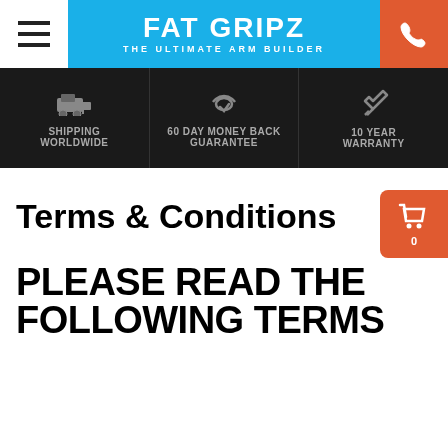FAT GRIPZ - THE ULTIMATE ARM BUILDER
SHIPPING WORLDWIDE | 60 DAY MONEY BACK GUARANTEE | 10 YEAR WARRANTY
Terms & Conditions
PLEASE READ THE FOLLOWING TERMS